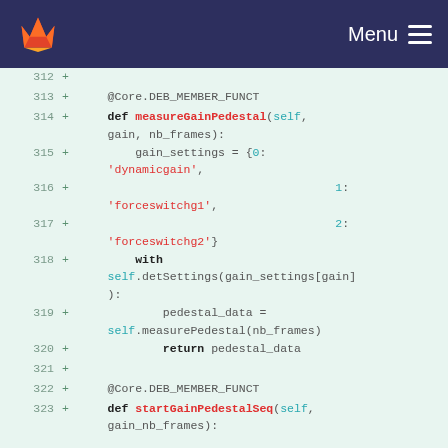GitLab — Menu
[Figure (screenshot): Code diff view showing Python methods measureGainPedestal and startGainPedestalSeq, lines 312-323, with green added lines on a light green background.]